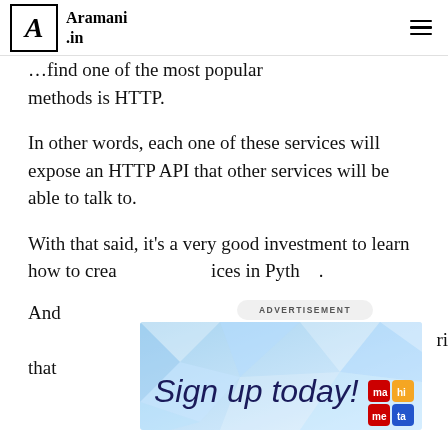Aramani.in
...methods is HTTP.
In other words, each one of these services will expose an HTTP API that other services will be able to talk to.
With that said, it's a very good investment to learn how to create API services in Python.
[Figure (infographic): Advertisement banner overlay with 'ADVERTISEMENT' label, close button (x), and 'Sign up today!' text with logo grid]
And ... ries that ...